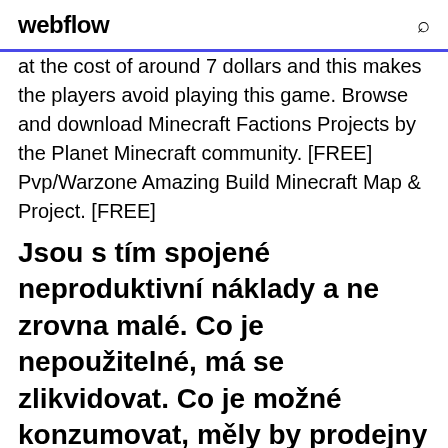webflow
at the cost of around 7 dollars and this makes the players avoid playing this game. Browse and download Minecraft Factions Projects by the Planet Minecraft community. [FREE] Pvp/Warzone Amazing Build Minecraft Map & Project. [FREE]
Jsou s tím spojené neproduktivní náklady a ne zrovna malé. Co je nepoužitelné, má se zlikvidovat. Co je možné konzumovat, měly by prodejny nechat na